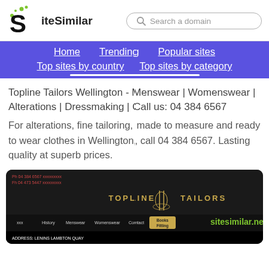[Figure (logo): SiteSimilar logo with stylized S and green dots, plus search box saying 'Search a domain']
Home | Trending | Popular sites | Top sites by country | Top sites by category
Topline Tailors Wellington - Menswear | Womenswear | Alterations | Dressmaking | Call us: 04 384 6567
For alterations, fine tailoring, made to measure and ready to wear clothes in Wellington, call 04 384 6567. Lasting quality at superb prices.
[Figure (screenshot): Screenshot of Topline Tailors website showing dark header with gold logo 'TOPLINE TAILORS', navigation menu with Books Fitting button, sitesimilar.net watermark in green, and address LENINS LAMBTON QUAY. Bottom shows suit jacket and tie image.]